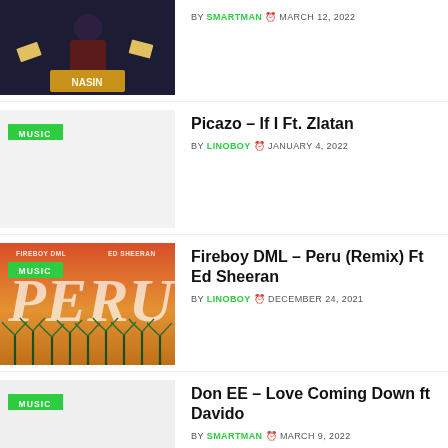[Figure (photo): Partial top article thumbnail: person in dark coat on stage with gold letters, partially cropped]
BY SMARTMAN  MARCH 12, 2022
[Figure (photo): Thumbnail for Picazo - If I Ft. Zlatan with MUSIC badge, light grey placeholder image]
Picazo – If I Ft. Zlatan
BY LINOBOY  JANUARY 4, 2022
[Figure (photo): Fireboy DML Peru Remix album art - orange/red gradient with palm trees, FIREBOY DML and ED SHEERAN text, PERU large text, MUSIC badge]
Fireboy DML – Peru (Remix) Ft Ed Sheeran
BY LINOBOY  DECEMBER 24, 2021
[Figure (photo): Thumbnail for Don EE - Love Coming Down ft Davido with MUSIC badge, grey placeholder]
Don EE – Love Coming Down ft Davido
BY SMARTMAN  MARCH 9, 2022